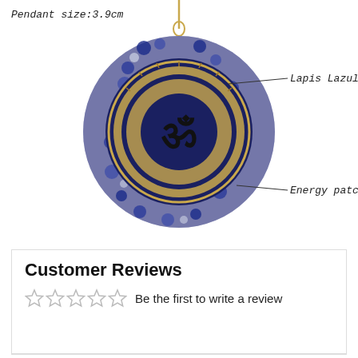Pendant size:3.9cm
[Figure (photo): A round orgonite pendant with Lapis Lazuli stones and a gold Om symbol mandala energy patch in the center, hanging from a gold chain. Callout lines label 'Lapis Lazuli' at top right and 'Energy patch' at middle right.]
Customer Reviews
Be the first to write a review